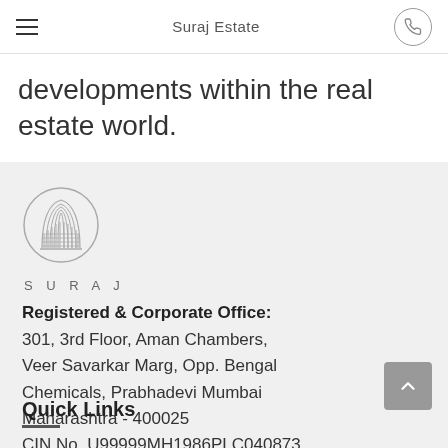Suraj Estate
developments within the real estate world.
[Figure (logo): Suraj Estate circular architectural logo with vertical lines and grid pattern]
SURAJ
Registered & Corporate Office: 301, 3rd Floor, Aman Chambers, Veer Savarkar Marg, Opp. Bengal Chemicals, Prabhadevi Mumbai Maharashtra - 400025 CIN No. U99999MH1986PLC040873
Quick Links